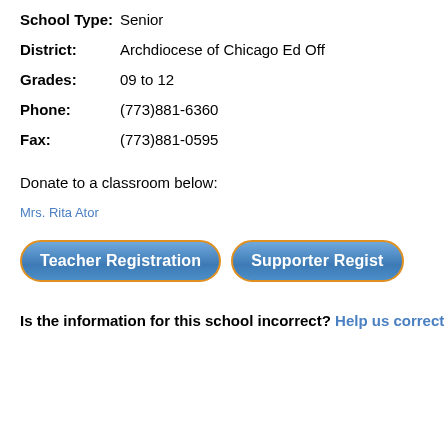School Type: Senior
District: Archdiocese of Chicago Ed Off
Grades: 09 to 12
Phone: (773)881-6360
Fax: (773)881-0595
Donate to a classroom below:
Mrs. Rita Ator
Teacher Registration
Supporter Regist
Is the information for this school incorrect? Help us correct